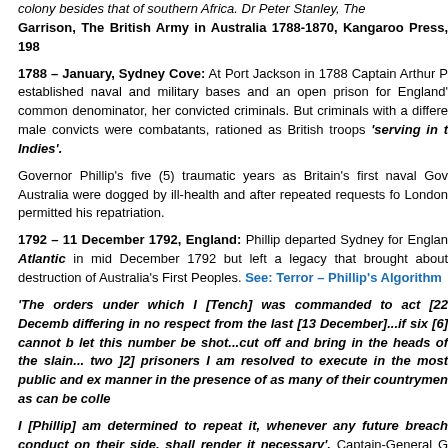colony besides that of southern Africa. Dr Peter Stanley, The Garrison, The British Army in Australia 1788-1870, Kangaroo Press, 198
1788 – January, Sydney Cove: At Port Jackson in 1788 Captain Arthur P established naval and military bases and an open prison for England' common denominator, her convicted criminals. But criminals with a differe male convicts were combatants, rationed as British troops 'serving in t Indies'.
Governor Phillip's five (5) traumatic years as Britain's first naval Gov Australia were dogged by ill-health and after repeated requests fo London permitted his repatriation.
1792 – 11 December 1792, England: Phillip departed Sydney for Englan Atlantic in mid December 1792 but left a legacy that brought about destruction of Australia's First Peoples. See: Terror – Phillip's Algorithm
'The orders under which I [Tench] was commanded to act [22 Decemb differing in no respect from the last [13 December]...if six [6] cannot b let this number be shot...cut off and bring in the heads of the slain... two ]2] prisoners I am resolved to execute in the most public and ex manner in the presence of as many of their countrymen as can be colle
I [Phillip] am determined to repeat it, whenever any future breach conduct on their side, shall render it necessary'. Captain-General G Arthur Phillip, 22 December 1790. Captain Watkin Tench, Sydney's Fi Years, ed. F.L. Fitzhardinge, Angus and Robertson, 1961
(more...)